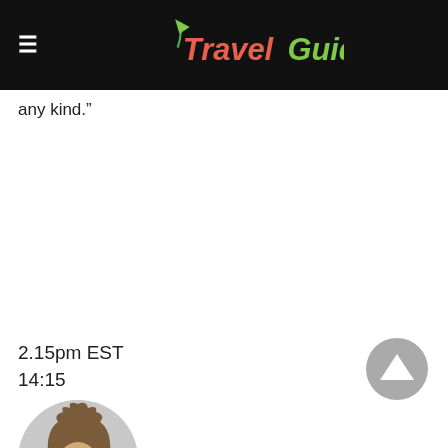TravelGuides
any kind."
2.15pm EST
14:15
[Figure (photo): Circular avatar photo of a person with spiky hair, shown from the shoulders up, against a light gray circular background, partially cropped at bottom of page.]